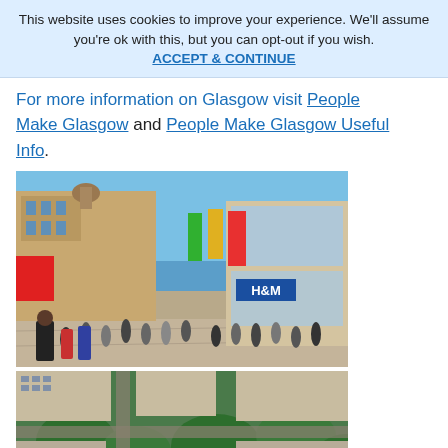This website uses cookies to improve your experience. We'll assume you're ok with this, but you can opt-out if you wish. ACCEPT & CONTINUE
For more information on Glasgow visit People Make Glasgow and People Make Glasgow Useful Info.
[Figure (photo): Street-level photo of Buchanan Street in Glasgow showing a busy pedestrian shopping area with a large modern H&M store on the right and historic Victorian buildings in the background. People are walking in sunshine.]
[Figure (photo): Aerial view of Glasgow showing a park with circular fountain/sculpture feature surrounded by green trees and grand stone buildings.]